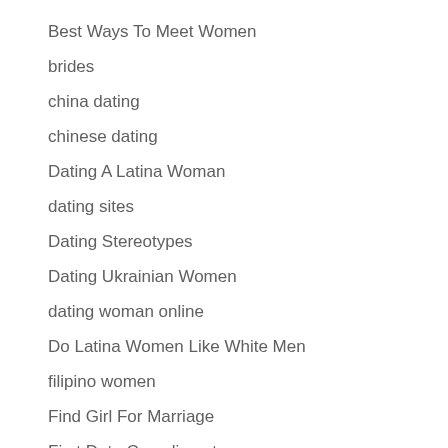Best Ways To Meet Women
brides
china dating
chinese dating
Dating A Latina Woman
dating sites
Dating Stereotypes
Dating Ukrainian Women
dating woman online
Do Latina Women Like White Men
filipino women
Find Girl For Marriage
First Date Compliments
Foreign Dating Sites
foreign…